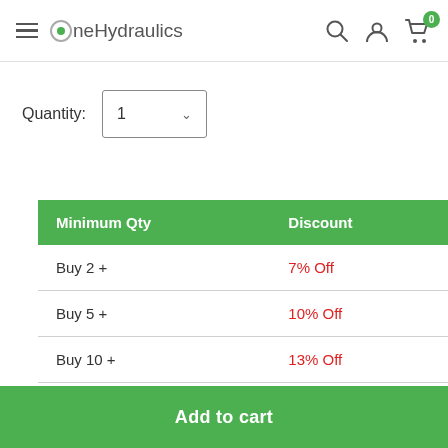OneHydraulics
Quantity: 1
| Minimum Qty | Discount |
| --- | --- |
| Buy 2 + | 7% Off |
| Buy 5 + | 10% Off |
| Buy 10 + | 13% Off |
Add to cart